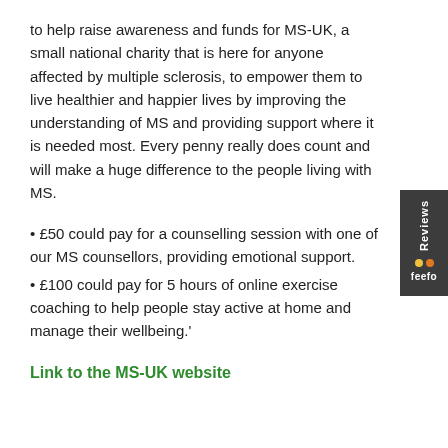to help raise awareness and funds for MS-UK, a small national charity that is here for anyone affected by multiple sclerosis, to empower them to live healthier and happier lives by improving the understanding of MS and providing support where it is needed most. Every penny really does count and will make a huge difference to the people living with MS.
• £50 could pay for a counselling session with one of our MS counsellors, providing emotional support.
• £100 could pay for 5 hours of online exercise coaching to help people stay active at home and manage their wellbeing.'
Link to the MS-UK website